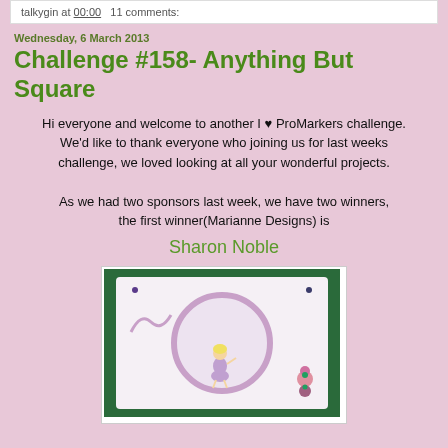talkygin at 00:00   11 comments:
Wednesday, 6 March 2013
Challenge #158- Anything But Square
Hi everyone and welcome to another I ♥ ProMarkers challenge.
We'd like to thank everyone who joining us for last weeks challenge, we loved looking at all your wonderful projects.

As we had two sponsors last week, we have two winners, the first winner(Marianne Designs) is
Sharon Noble
[Figure (photo): A craft card featuring a fairy figure in the center with a circular decorative border, purple/lavender colors, flowers on the right side, and small gem embellishments in the corners, displayed on a green cutting mat background.]